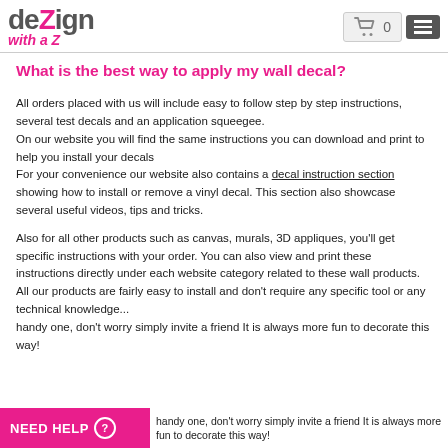dezign with a Z
What is the best way to apply my wall decal?
All orders placed with us will include easy to follow step by step instructions, several test decals and an application squeegee.
On our website you will find the same instructions you can download and print to help you install your decals
For your convenience our website also contains a decal instruction section showing how to install or remove a vinyl decal. This section also showcase several useful videos, tips and tricks.
Also for all other products such as canvas, murals, 3D appliques, you'll get specific instructions with your order. You can also view and print these instructions directly under each website category related to these wall products.
All our products are fairly easy to install and don't require any specific tool or any technical knowledge...
handy one, don't worry simply invite a friend It is always more fun to decorate this way!
NEED HELP ?